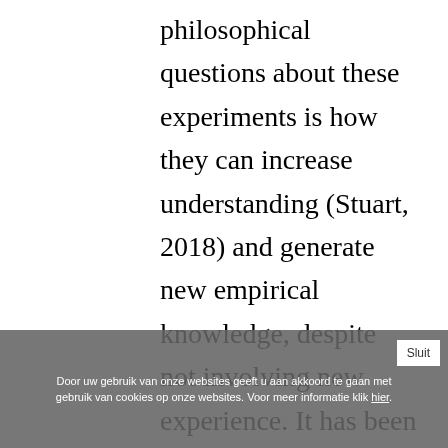philosophical questions about these experiments is how they can increase understanding (Stuart, 2018) and generate new empirical knowledge, despite not involving new experience. It has been argued, in this regard, that thought experiments are arguments. They rearrange, reconfigure or extend pre-existing knowledge or data
Door uw gebruik van onze websites geeft u aan akkoord te gaan met gebruik van cookies op onze websites. Voor meer informatie klik hier.